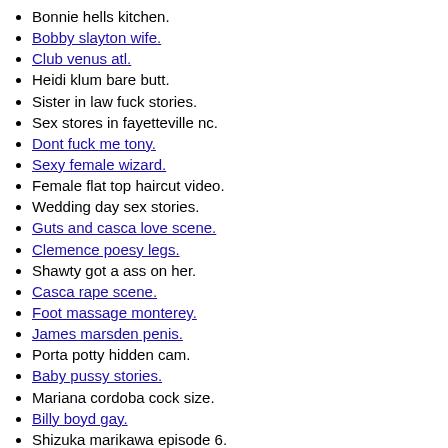Bonnie hells kitchen.
Bobby slayton wife.
Club venus atl.
Heidi klum bare butt.
Sister in law fuck stories.
Sex stores in fayetteville nc.
Dont fuck me tony.
Sexy female wizard.
Female flat top haircut video.
Wedding day sex stories.
Guts and casca love scene.
Clemence poesy legs.
Shawty got a ass on her.
Casca rape scene.
Foot massage monterey.
James marsden penis.
Porta potty hidden cam.
Baby pussy stories.
Mariana cordoba cock size.
Billy boyd gay.
Shizuka marikawa episode 6.
Lexi bloom freeones.
Elle king lesbian.
Lara spencer nipples.
Amatures in pantyhose.